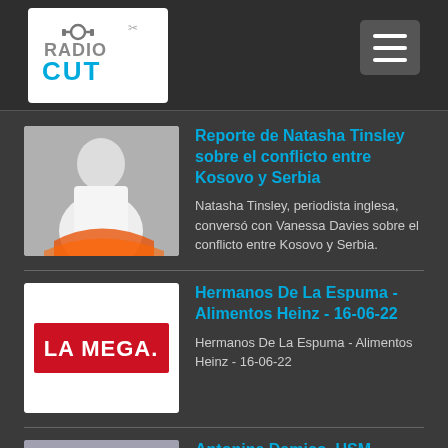Radio Cut
Reporte de Natasha Tinsley sobre el conflicto entre Kosovo y Serbia
Natasha Tinsley, periodista inglesa, conversó con Vanessa Davies sobre el conflicto entre Kosovo y Serbia.
Hermanos De La Espuma - Alimentos Heinz - 16-06-22
Hermanos De La Espuma - Alimentos Heinz - 16-06-22
Antonina Damico, USM.
Entrevista a Antonina Damico, Directora de Educación del postgrado de la Universidad Santa María, efectuada por José Eduardo Orozco, en el programa "De educación y algo